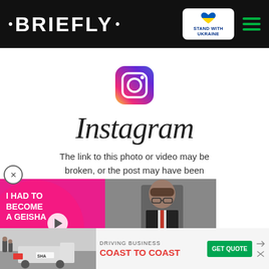· BRIEFLY · [Stand with Ukraine badge] [Hamburger menu]
[Figure (logo): Instagram app icon - colorful gradient square with camera outline]
Instagram
The link to this photo or video may be broken, or the post may have been removed.
Instagram
[Figure (photo): Overlay card showing a woman in red sari with text 'I HAD TO BECOME A GEISHA' on pink background, and a man with glasses in dark suit]
[Figure (other): Red chevron down button]
[Figure (other): Advertisement banner: DRIVING BUSINESS COAST TO COAST with GET QUOTE button, showing truck/logistics imagery]